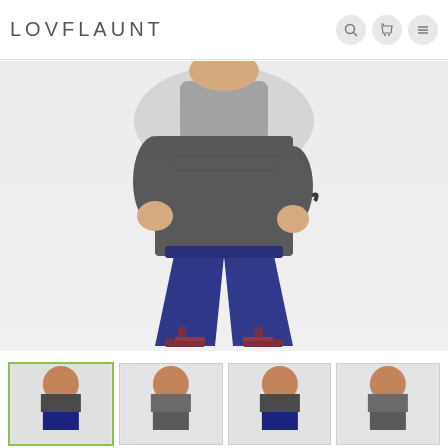LOVFLAUNT
[Figure (photo): Woman wearing wide-leg navy blue culottes/palazzo pants with a dark gray/charcoal wrap-style top with a tie at the waist. She is wearing burgundy heeled sandals. The image shows her from approximately the shoulders down. The pants are wide-legged and cropped at mid-calf length.]
[Figure (photo): Thumbnail 1 (selected, green border): same woman in navy culottes and dark top, shown from waist up]
[Figure (photo): Thumbnail 2: woman in gray/dark outfit, side view]
[Figure (photo): Thumbnail 3: woman in navy culottes, front view]
[Figure (photo): Thumbnail 4: woman in gray outfit, front view]